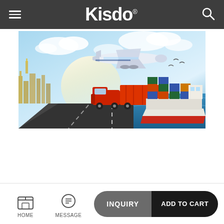Kisdo — mobile app navigation bar
[Figure (illustration): Logistics/shipping promotional banner showing a cargo airplane in the sky, a red freight truck on a highway, and a large container ship on water, with a city skyline on the left and blue sky with clouds in the background.]
HOME | MESSAGE | INQUIRY | ADD TO CART